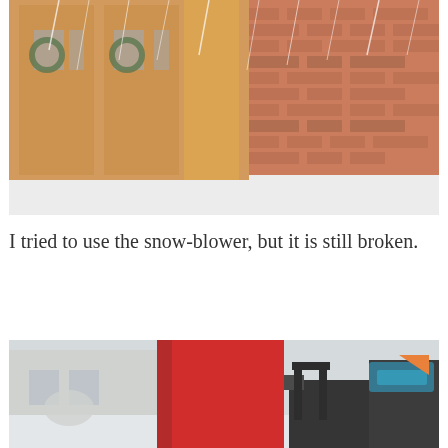[Figure (photo): A building entrance with wooden double doors decorated with wreaths, covered in heavy snowfall. Red brick wall visible on the right side. Snow accumulating on the ground.]
I tried to use the snow-blower, but it is still broken.
[Figure (photo): Close-up view from inside or behind a red snowblower machine, with a snowy yard and house visible in the background. Machine parts including black handles visible.]